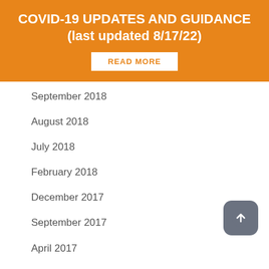COVID-19 UPDATES AND GUIDANCE (last updated 8/17/22)
READ MORE
September 2018
August 2018
July 2018
February 2018
December 2017
September 2017
April 2017
January 2017
November 2016
September 2016
March 2016
February 2016